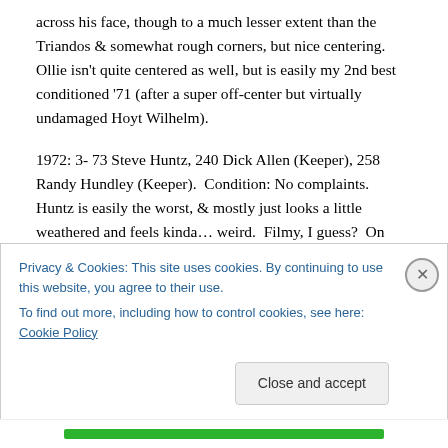across his face, though to a much lesser extent than the Triandos & somewhat rough corners, but nice centering. Ollie isn't quite centered as well, but is easily my 2nd best conditioned '71 (after a super off-center but virtually undamaged Hoyt Wilhelm).
1972: 3- 73 Steve Huntz, 240 Dick Allen (Keeper), 258 Randy Hundley (Keeper). Condition: No complaints. Huntz is easily the worst, & mostly just looks a little weathered and feels kinda… weird. Filmy, I guess? On both sides. Allen & Hundley don't have much wrong with
Privacy & Cookies: This site uses cookies. By continuing to use this website, you agree to their use.
To find out more, including how to control cookies, see here: Cookie Policy